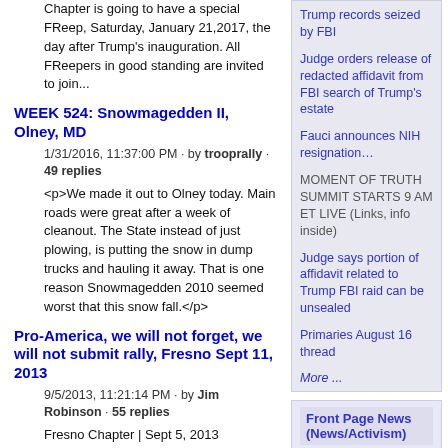Chapter is going to have a special FReep, Saturday, January 21,2017, the day after Trump's inauguration. All FReepers in good standing are invited to join...
WEEK 524: Snowmagedden II, Olney, MD
1/31/2016, 11:37:00 PM · by trooprally · 49 replies
<p>We made it out to Olney today. Main roads were great after a week of cleanout. The State instead of just plowing, is putting the snow in dump trucks and hauling it away. That is one reason Snowmagedden 2010 seemed worst that this snow fall.</p>
Pro-America, we will not forget, we will not submit rally, Fresno Sept 11, 2013
9/5/2013, 11:21:14 PM · by Jim Robinson · 55 replies
Fresno Chapter | Sept 5, 2013
<p>Join us for a "Pro America, we will not forget, we will not submit rally" on September 11, 2013.</p> <p>Dinner
Trump records seized by FBI
Judge orders release of redacted affidavit from FBI search of Trump's estate
Fauci announces NIH resignation…
MOMENT OF TRUTH SUMMIT STARTS 9 AM ET LIVE (Links, info inside)
Judge says portion of affidavit related to Trump FBI raid can be unsealed
Primaries August 16 thread
More ...
Front Page News (News/Activism)